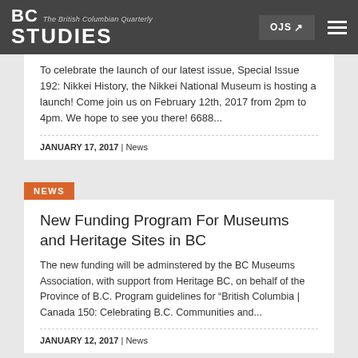BC STUDIES | The British Columbian Quarterly
To celebrate the launch of our latest issue, Special Issue 192: Nikkei History, the Nikkei National Museum is hosting a launch! Come join us on February 12th, 2017 from 2pm to 4pm. We hope to see you there!  6688...
JANUARY 17, 2017 | News
NEWS
New Funding Program For Museums and Heritage Sites in BC
The new funding will be adminstered by the BC Museums Association, with support from Heritage BC, on behalf of the Province of B.C. Program guidelines for “British Columbia | Canada 150: Celebrating B.C. Communities and...
JANUARY 12, 2017 | News